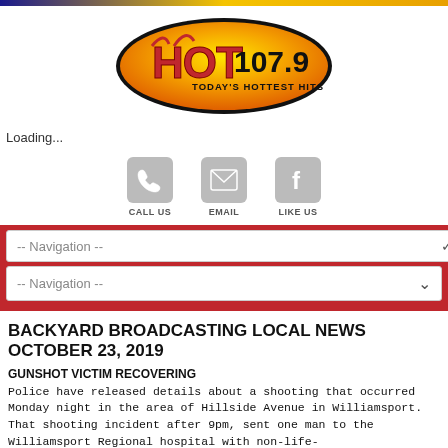[Figure (logo): HOT 107.9 radio station logo - oval shaped with orange/yellow gradient background, red stylized 'HOT' text, black '107.9' text, and 'TODAY'S HOTTEST HITS' tagline]
Loading...
[Figure (infographic): Three social media/contact icons in gray rounded squares: phone (CALL US), email envelope (EMAIL), Facebook f (LIKE US)]
[Figure (screenshot): Navigation dropdown selector with '-- Navigation --' placeholder text and chevron, inside red bar]
BACKYARD BROADCASTING LOCAL NEWS OCTOBER 23, 2019
GUNSHOT VICTIM RECOVERING
Police have released details about a shooting that occurred Monday night in the area of Hillside Avenue in Williamsport.  That shooting incident after 9pm, sent one man to the Williamsport Regional hospital with non-life-